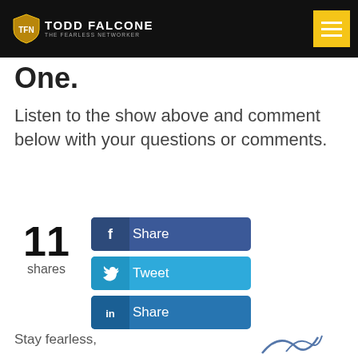TODD FALCONE — THE FEARLESS NETWORKER
One.
Listen to the show above and comment below with your questions or comments.
[Figure (infographic): Social share count showing 11 shares, with three social sharing buttons: Facebook Share, Twitter Tweet, LinkedIn Share]
Stay fearless,